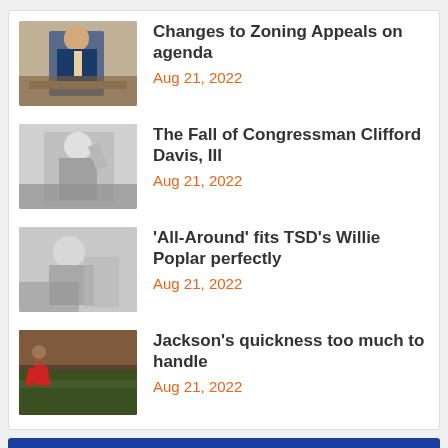Changes to Zoning Appeals on agenda — Aug 21, 2022
The Fall of Congressman Clifford Davis, III — Aug 21, 2022
'All-Around' fits TSD's Willie Poplar perfectly — Aug 21, 2022
Jackson's quickness too much to handle — Aug 21, 2022
[Figure (photo): Advertisement banner with blue background, 'Delicious' script text in white, yellow accent dots, and yellow bottom banner strip reading 'WEEKEND ART...']